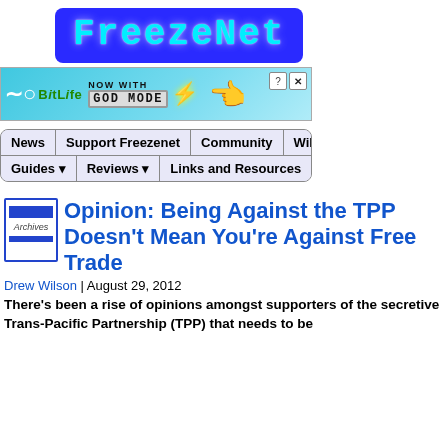[Figure (logo): FreezeNet logo — blue rounded rectangle background with cyan/light-blue pixelated monospace text reading 'FreezeNet']
[Figure (illustration): BitLife advertisement banner: 'NOW WITH GOD MODE' with a pointing hand illustration and close/help buttons]
[Figure (infographic): Navigation bar with tabs: News, Support Freezenet, Community, Wiki (top row) and Guides, Reviews, Links and Resources (bottom row)]
[Figure (illustration): Archives icon — small blue-bordered box with blue stripes and italic 'Archives' label]
Opinion: Being Against the TPP Doesn't Mean You're Against Free Trade
Drew Wilson | August 29, 2012
There's been a rise of opinions amongst supporters of the secretive Trans-Pacific Partnership (TPP) that needs to be